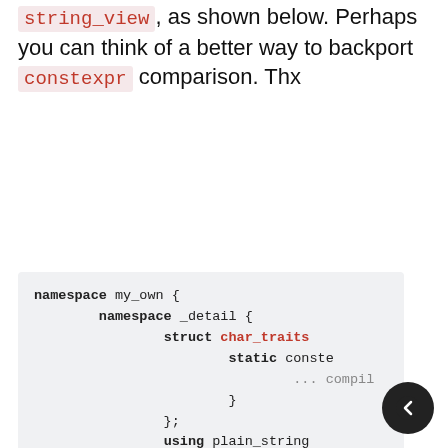string_view, as shown below. Perhaps you can think of a better way to backport constexpr comparison. Thx
[Figure (screenshot): Code block showing C++ namespace with string_view class definition including char_traits struct, using declarations, and operator string() method]